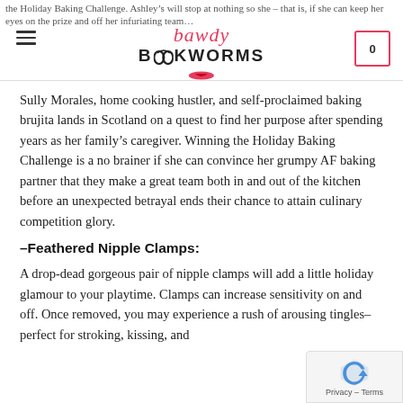the Holiday Baking Challenge. Ashley's will stop at nothing so she – that is, if she can keep her eyes on the prize and off her infuriating team... [Bawdy Bookworms logo]
Sully Morales, home cooking hustler, and self-proclaimed baking brujita lands in Scotland on a quest to find her purpose after spending years as her family's caregiver. Winning the Holiday Baking Challenge is a no brainer if she can convince her grumpy AF baking partner that they make a great team both in and out of the kitchen before an unexpected betrayal ends their chance to attain culinary competition glory.
–Feathered Nipple Clamps:
A drop-dead gorgeous pair of nipple clamps will add a little holiday glamour to your playtime. Clamps can increase sensitivity on and off. Once removed, you may experience a rush of arousing tingles–perfect for stroking, kissing, and